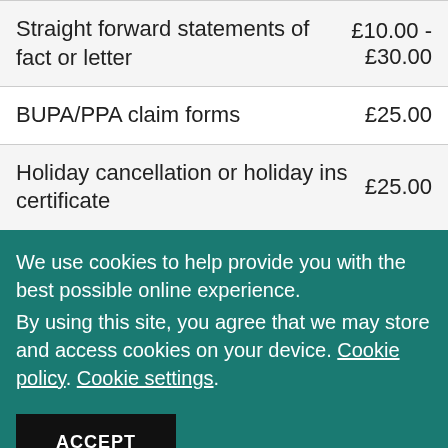| Service | Price |
| --- | --- |
| Straight forward statements of fact or letter | £10.00 - £30.00 |
| BUPA/PPA claim forms | £25.00 |
| Holiday cancellation or holiday ins certificate | £25.00 |
We use cookies to help provide you with the best possible online experience.
By using this site, you agree that we may store and access cookies on your device. Cookie policy. Cookie settings.